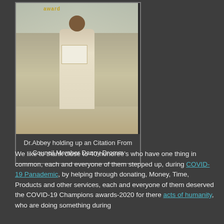[Figure (photo): Dr. Abbey standing in front of a COVID-19 Champions Award backdrop, holding a framed citation document, dressed in white.]
Dr.Abbey holding up an Citation From Council Member Danny Dromm
We like to thank close to 40 honoree's who have one thing in common, each and everyone of them stepped up, during COVID-19 Panademic, by helping through donating, Money, Time, Products and other services, each and everyone of them deserved the COVID-19 Champions awards-2020 for there acts of humanity, who are doing something during